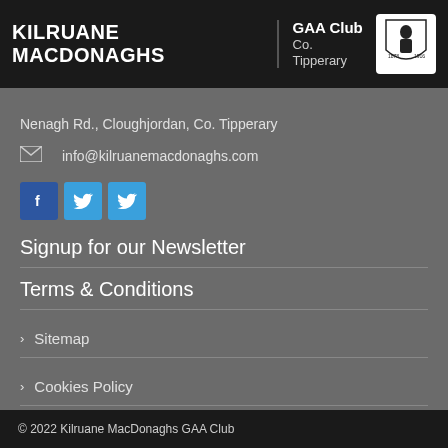Kilruane MacDonaghs | GAA Club Co. Tipperary
Nenagh Rd., Cloughjordan, Co. Tipperary
info@kilruanemacdonaghs.com
[Figure (other): Social media icons: Facebook and two Twitter buttons]
Signup for our Newsletter
Terms & Conditions
Sitemap
Cookies Policy
© 2022 Kilruane MacDonaghs GAA Club